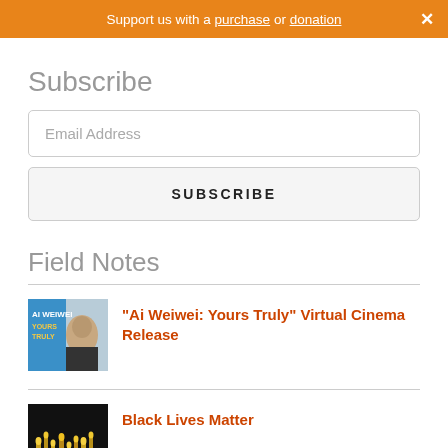Support us with a purchase or donation ×
Subscribe
Email Address
SUBSCRIBE
Field Notes
“Ai Weiwei: Yours Truly” Virtual Cinema Release
[Figure (photo): Thumbnail image for Ai Weiwei: Yours Truly article showing book cover with Ai Weiwei's portrait]
Black Lives Matter
[Figure (photo): Thumbnail image for Black Lives Matter article showing candles on dark background]